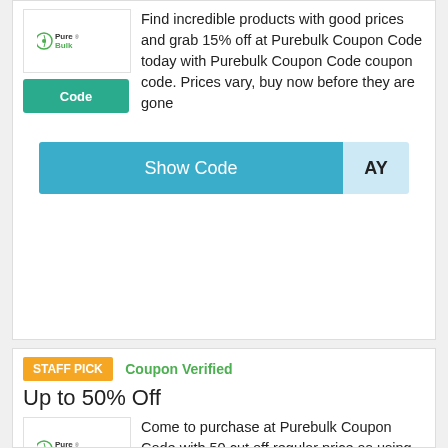[Figure (logo): PureBulk logo]
Code
Find incredible products with good prices and grab 15% off at Purebulk Coupon Code today with Purebulk Coupon Code coupon code. Prices vary, buy now before they are gone
Show Code  AY
STAFF PICK
Coupon Verified
Up to 50% Off
[Figure (logo): PureBulk logo]
Code
Come to purchase at Purebulk Coupon Code with 50 cut off regular price as using Purebulk Coupon Co...